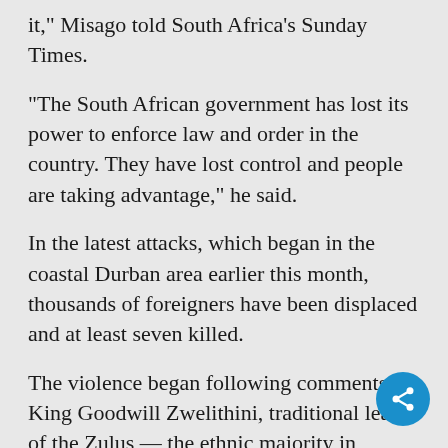it," Misago told South Africa's Sunday Times.
"The South African government has lost its power to enforce law and order in the country. They have lost control and people are taking advantage," he said.
In the latest attacks, which began in the coastal Durban area earlier this month, thousands of foreigners have been displaced and at least seven killed.
The violence began following comments by King Goodwill Zwelithini, traditional leader of the Zulus — the ethnic majority in KwaZulu-Natal, the province that includes Durban — telling fore to return home. Zwelithini claims his remarks